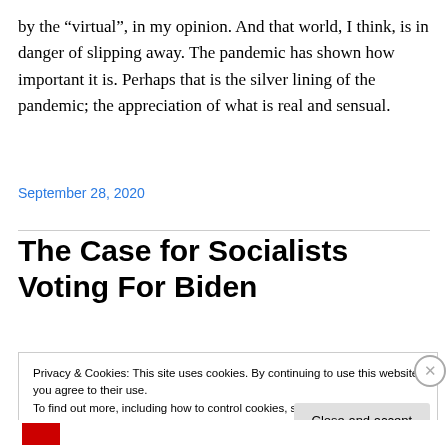by the “virtual”, in my opinion. And that world, I think, is in danger of slipping away. The pandemic has shown how important it is. Perhaps that is the silver lining of the pandemic; the appreciation of what is real and sensual.
September 28, 2020
The Case for Socialists Voting For Biden
Privacy & Cookies: This site uses cookies. By continuing to use this website, you agree to their use.
To find out more, including how to control cookies, see here: Cookie Policy